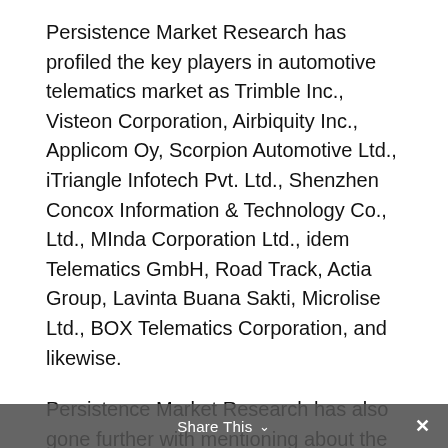Persistence Market Research has profiled the key players in automotive telematics market as Trimble Inc., Visteon Corporation, Airbiquity Inc., Applicom Oy, Scorpion Automotive Ltd., iTriangle Infotech Pvt. Ltd., Shenzhen Concox Information & Technology Co., Ltd., MInda Corporation Ltd., idem Telematics GmbH, Road Track, Actia Group, Lavinta Buana Sakti, Microlise Ltd., BOX Telematics Corporation, and likewise.
Persistence Market Research has also gone further with mentioning about the developments on this count. For instance – Cerence Inc., in July 2021, entered into partnership with Harman International for offering voice-enable in-vehicle third-party applications in Harman Ignite Store. Also, IMS, in February 2021, launched IMS Vehicle Data Exchange. It comes across as a new-fangled service making ways for real-time, live access to vehicle insights as well as mobility data from the OEM-embedded hardware nd aftermarket device. Wobfleet Solution has its software...
Share This